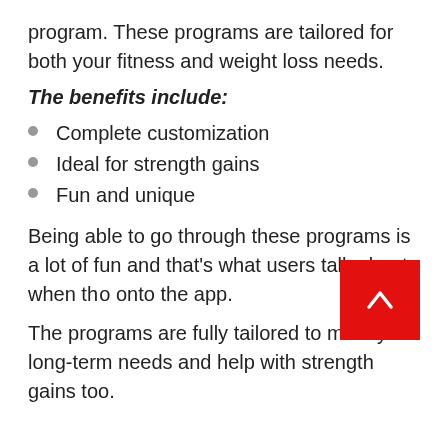program. These programs are tailored for both your fitness and weight loss needs.
The benefits include:
Complete customization
Ideal for strength gains
Fun and unique
Being able to go through these programs is a lot of fun and that’s what users talk about when they log onto the app.
The programs are fully tailored to meet your long-term needs and help with strength gains too.